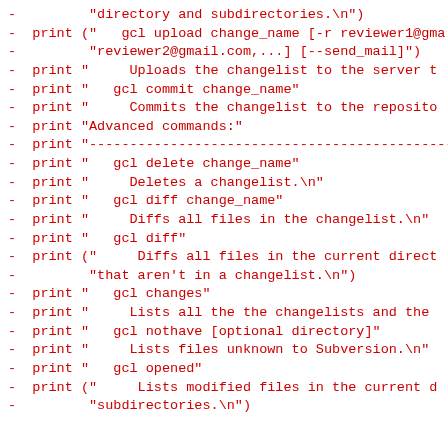Code listing showing diff/git-style lines with print statements for gcl commands including upload, commit, delete, diff, changes, nothave, opened